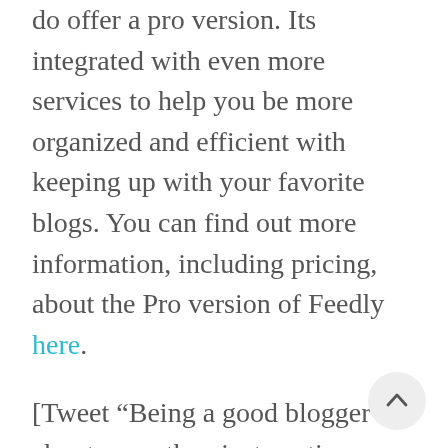do offer a pro version. Its integrated with even more services to help you be more organized and efficient with keeping up with your favorite blogs. You can find out more information, including pricing, about the Pro version of Feedly here.
[Tweet “Being a good blogger is about more than just posting several times a week, its about building and contributing to a community. ”]
[Tweet “Learn how to better keep with read all of the blogs you follow daily!”]